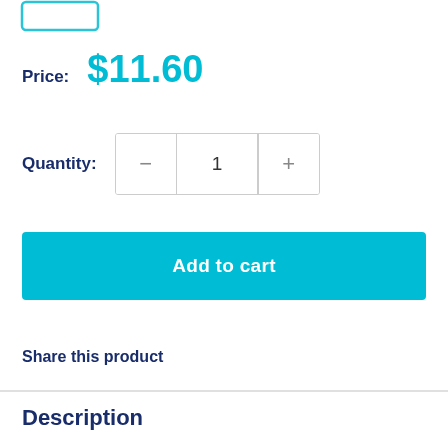[Figure (other): Partial product image thumbnail (cropped at top, showing a light blue outlined rectangle/checkbox/image placeholder)]
Price: $11.60
Quantity: 1
Add to cart
Share this product
Description